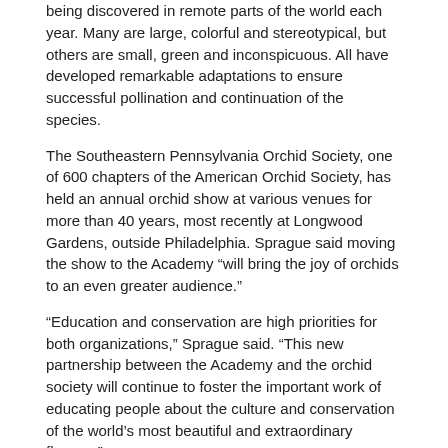being discovered in remote parts of the world each year. Many are large, colorful and stereotypical, but others are small, green and inconspicuous. All have developed remarkable adaptations to ensure successful pollination and continuation of the species.
The Southeastern Pennsylvania Orchid Society, one of 600 chapters of the American Orchid Society, has held an annual orchid show at various venues for more than 40 years, most recently at Longwood Gardens, outside Philadelphia. Sprague said moving the show to the Academy “will bring the joy of orchids to an even greater audience.”
“Education and conservation are high priorities for both organizations,” Sprague said. “This new partnership between the Academy and the orchid society will continue to foster the important work of educating people about the culture and conservation of the world’s most beautiful and extraordinary flowers.”
Media Contact
Carolyn Belardo
Director of Public Relations
belardo@ansp.org
Phone: 215.299.1043
ABOUT